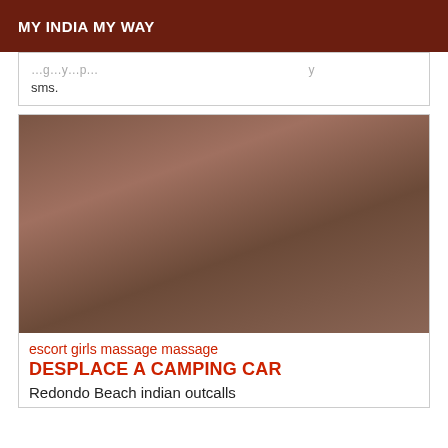MY INDIA MY WAY
sms.
[Figure (photo): A woman posing on a sofa wearing leopard print lingerie and black patterned stockings with high heels]
escort girls massage massage DESPLACE A CAMPING CAR
Redondo Beach indian outcalls